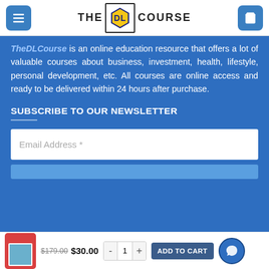THE DL COURSE
TheDLCourse is an online education resource that offers a lot of valuable courses about business, investment, health, lifestyle, personal development, etc. All courses are online access and ready to be delivered within 24 hours after purchase.
SUBSCRIBE TO OUR NEWSLETTER
Email Address *
$179.00  $30.00
ADD TO CART